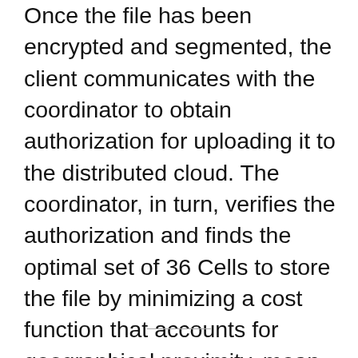Once the file has been encrypted and segmented, the client communicates with the coordinator to obtain authorization for uploading it to the distributed cloud. The coordinator, in turn, verifies the authorization and finds the optimal set of 36 Cells to store the file by minimizing a cost function that accounts for geographical proximity, mean uptime, free space and other metadata. It then acts as handshake server to initiate the peer-to-peer connection between the hosting Cells and the client, which distributes the shards on the network.